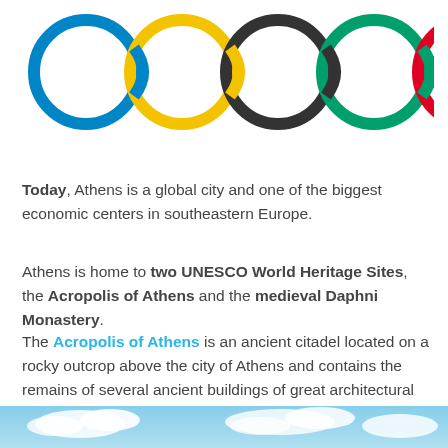[Figure (logo): Olympic rings logo — five interlocking rings in blue, yellow, black, green, and red on white background, partially cropped at top]
Today, Athens is a global city and one of the biggest economic centers in southeastern Europe.
Athens is home to two UNESCO World Heritage Sites, the Acropolis of Athens and the medieval Daphni Monastery.
The Acropolis of Athens is an ancient citadel located on a rocky outcrop above the city of Athens and contains the remains of several ancient buildings of great architectural and historic significance, the most famous being the Parthenon. It is located on a flattish-topped rock that rises 150 meters (490 feet) above sea level in the city.
[Figure (photo): Sky with clouds photo at the bottom of the page]